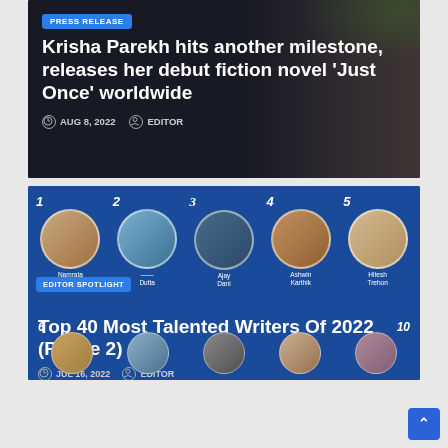[Figure (photo): Dark-background article card showing a person in black clothing holding a blue book. Overlaid text shows a PRESS RELEASE badge and article title.]
Krisha Parekh hits another milestone, releases her debut fiction novel ‘Just Once’ worldwide
AUG 8, 2022   EDITOR
[Figure (photo): Blue-background card showing Top 40 Most Talented Writers Of 2022 (Phase 2) with circular profile photos numbered 1-5 in top row and 6-10 in bottom row. Names visible: Namrata Chakraborty (1), unnamed (2), Ajay Dani (3), Ashwin Karthik (4), Hitesh Trehon (5). EDITOR SPOTLIGHT badge shown.]
Top 40 Most Talented Writers Of 2022 (Phase 2)
JUL 16, 2022   EDITOR